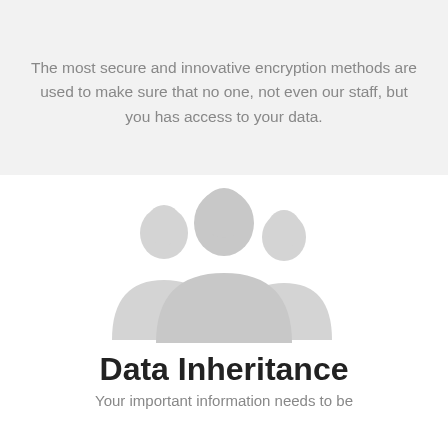The most secure and innovative encryption methods are used to make sure that no one, not even our staff, but you has access to your data.
[Figure (illustration): Three silhouette figures representing a group of people, shown in light gray, with the center figure larger and in front, and two smaller side figures behind.]
Data Inheritance
Your important information needs to be